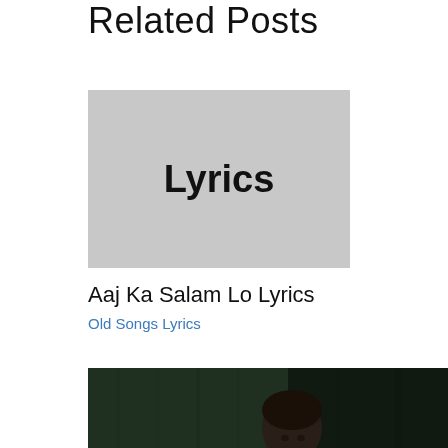Related Posts
[Figure (illustration): Gray placeholder image with bold text 'Lyrics' centered on it]
Aaj Ka Salam Lo Lyrics
Old Songs Lyrics
[Figure (photo): Dark photograph of a person (man) with two small light spots visible, dark greenish background]